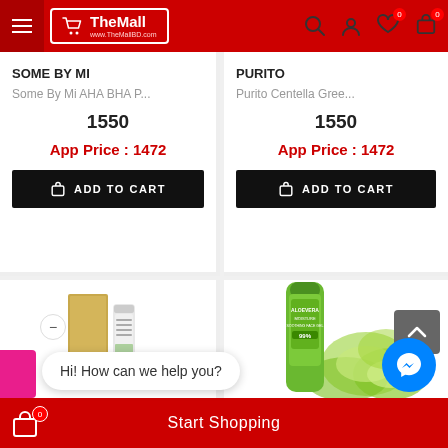TheMall www.TheMallBD.com
SOME BY MI
Some By Mi AHA BHA P...
1550
App Price : 1472
ADD TO CART
PURITO
Purito Centella Gree...
1550
App Price : 1472
ADD TO CART
[Figure (photo): Product image of Purito skincare item in gold/white packaging]
[Figure (photo): Product image of Aloevera moisturizing face gel with green bottle and aloe vera]
Hi! How can we help you?
Start Shopping